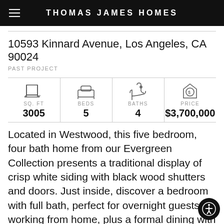THOMAS JAMES HOMES
10593 Kinnard Avenue, Los Angeles, CA 90024
PAST PROJECT
| SQ. FT | BEDS | BATHS | PRICE |
| --- | --- | --- | --- |
| 3005 | 5 | 4 | $3,700,000 |
Located in Westwood, this five bedroom, four bath home from our Evergreen Collection presents a traditional display of crisp white siding with black wood shutters and doors. Just inside, discover a bedroom with full bath, perfect for overnight guests or working from home, plus a formal dining with gray painted ceiling and antique bronze light fixtures to complement